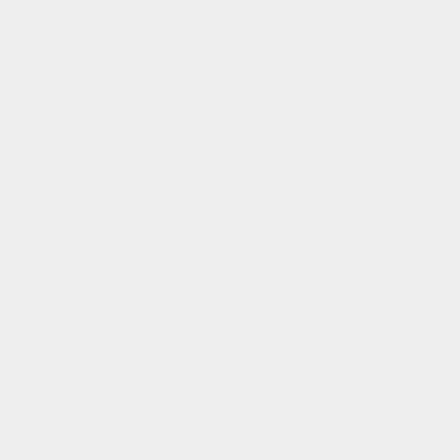specific integration lines genes. All genes were pr indicated by the correla constitutively expressed cold-induction levels of and CCR5-ZFN in rice a overexpressing constru The heat-inducible I-Sce creating somatic excisio excisions. The inducible transmitted stably to th detectable excisions. Fin was found to induce mu occurred far more frequ in 114 rice lines includin progenies for 3 differen CRISPR/Cas9 was foun that were inherited by t predicted off-target site in the heat-shock CRISP in the constitutive over